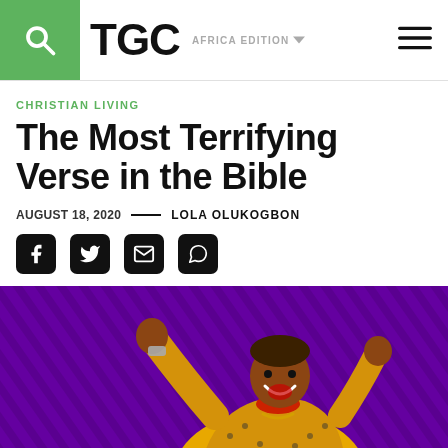TGC — AFRICA EDITION
CHRISTIAN LIVING
The Most Terrifying Verse in the Bible
AUGUST 18, 2020 — LOLA OLUKOGBON
[Figure (other): Social share icons: Facebook, Twitter, Email, WhatsApp]
[Figure (photo): A joyful woman wearing a yellow floral jacket and red turtleneck, arms raised, laughing, against a purple striped background]